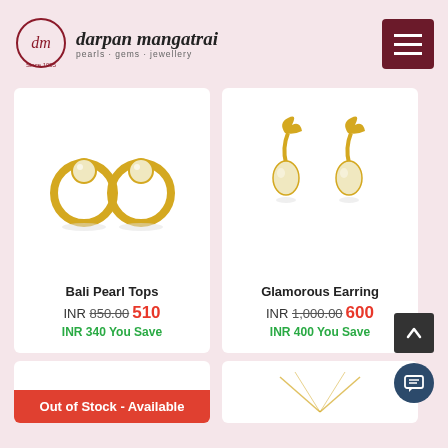darpan mangatrai – pearls · gems · jewellery
[Figure (photo): Product photo of Bali Pearl Tops – two golden circular earrings with pearl centers]
Bali Pearl Tops
INR 850.00 510
INR 340 You Save
[Figure (photo): Product photo of Glamorous Earring – two gold drop earrings with pearl pendants]
Glamorous Earring
INR 1,000.00 600
INR 400 You Save
Out of Stock - Available